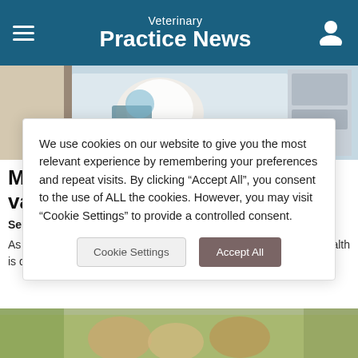Veterinary Practice News
[Figure (photo): Photo of a white fluffy dog on an examination table with veterinary equipment in the background]
Merck marks three million rabies vaccine donations
September 19, 2019
As World Rabies Day approaches on Sept. 28, Merck Animal Health is doing its part to combat the transmission of rabies.
We use cookies on our website to give you the most relevant experience by remembering your preferences and repeat visits. By clicking “Accept All”, you consent to the use of ALL the cookies. However, you may visit “Cookie Settings” to provide a controlled consent.
[Figure (photo): Partial photo of animals visible at bottom of page]